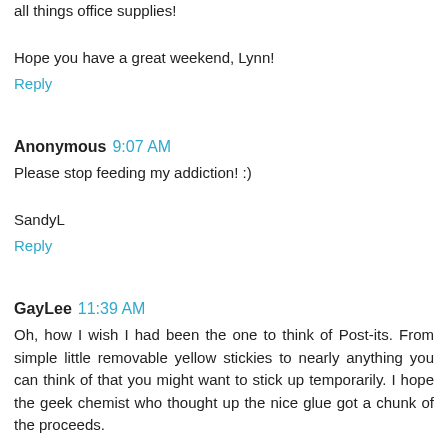all things office supplies!
Hope you have a great weekend, Lynn!
Reply
Anonymous  9:07 AM
Please stop feeding my addiction! :)
SandyL
Reply
GayLee  11:39 AM
Oh, how I wish I had been the one to think of Post-its. From simple little removable yellow stickies to nearly anything you can think of that you might want to stick up temporarily. I hope the geek chemist who thought up the nice glue got a chunk of the proceeds.
It reminds me of the guy who thought up and patented the